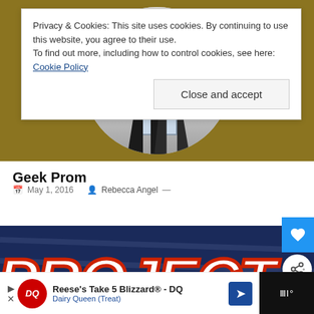[Figure (photo): Hero image with gold/brown background and circular photo showing two people in dark formal wear walking through a doorway]
Privacy & Cookies: This site uses cookies. By continuing to use this website, you agree to their use.
To find out more, including how to control cookies, see here: Cookie Policy
Close and accept
Geek Prom
May 1, 2016   Rebecca Angel —
[Figure (photo): Image showing large bold letters spelling PROJECT in dark blue with red outline, resembling a movie or event title card]
Reese's Take 5 Blizzard® - DQ
Dairy Queen (Treat)